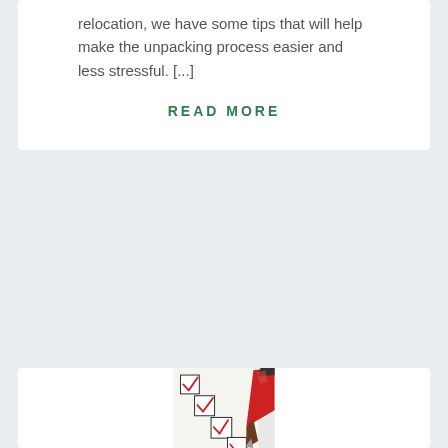relocation, we have some tips that will help make the unpacking process easier and less stressful. [...]
READ MORE
[Figure (photo): Close-up photo of a red marker/pencil checking boxes on a checklist. Three checkboxes are fully checked with red checkmarks, and a fourth is being checked. The paper is white with black bordered squares arranged diagonally.]